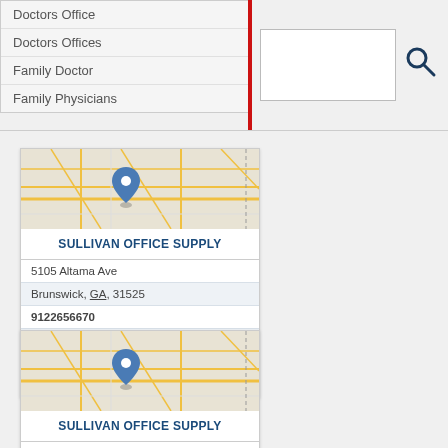Doctors Office
Doctors Offices
Family Doctor
Family Physicians
[Figure (screenshot): Search input box with magnifying glass icon]
[Figure (map): Street map with blue location pin marker for Sullivan Office Supply]
SULLIVAN OFFICE SUPPLY
5105 Altama Ave
Brunswick, GA, 31525
9122656670
Office Supplies
Staples
Stationery
[Figure (map): Street map with blue location pin marker for Sullivan Office Supply second card]
SULLIVAN OFFICE SUPPLY
Brun